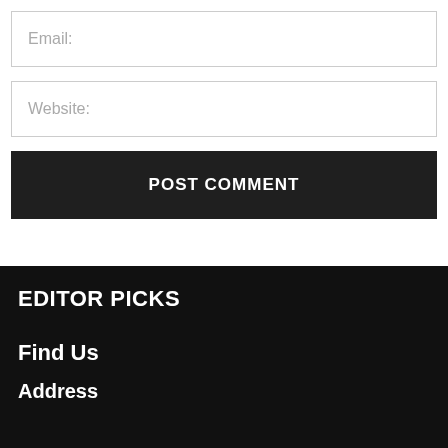Email:
Website:
POST COMMENT
EDITOR PICKS
Find Us
Address